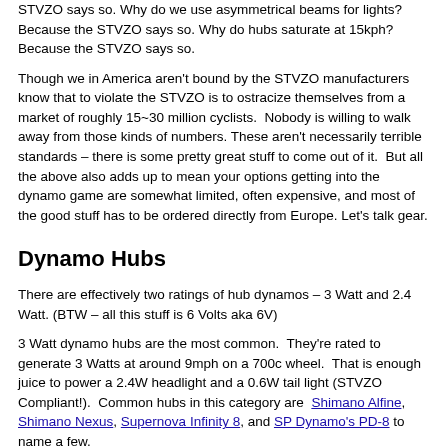STVZO says so. Why do we use asymmetrical beams for lights? Because the STVZO says so. Why do hubs saturate at 15kph? Because the STVZO says so.
Though we in America aren't bound by the STVZO manufacturers know that to violate the STVZO is to ostracize themselves from a market of roughly 15~30 million cyclists.  Nobody is willing to walk away from those kinds of numbers. These aren't necessarily terrible standards – there is some pretty great stuff to come out of it.  But all the above also adds up to mean your options getting into the dynamo game are somewhat limited, often expensive, and most of the good stuff has to be ordered directly from Europe. Let's talk gear.
Dynamo Hubs
There are effectively two ratings of hub dynamos – 3 Watt and 2.4 Watt. (BTW – all this stuff is 6 Volts aka 6V)
3 Watt dynamo hubs are the most common.  They're rated to generate 3 Watts at around 9mph on a 700c wheel.  That is enough juice to power a 2.4W headlight and a 0.6W tail light (STVZO Compliant!).  Common hubs in this category are  Shimano Alfine, Shimano Nexus, Supernova Infinity 8, and SP Dynamo's PD-8 to name a few.
The 2.4 Watt dynamo is sort of a new thing.  As you might have inferred they're only rated to generate 2.4 Watts (at around 9mph on a 700c wheel), but they have been given special dispensation by the